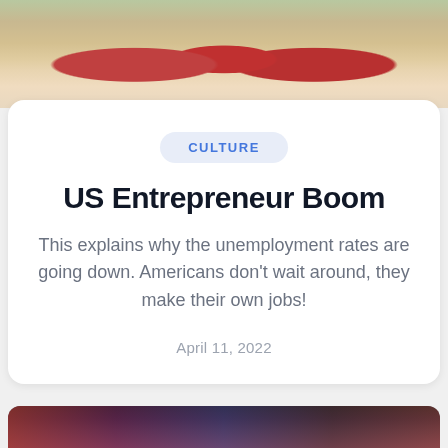[Figure (photo): Photo of a table with red cups and items on a pink/lavender tablecloth]
CULTURE
US Entrepreneur Boom
This explains why the unemployment rates are going down. Americans don't wait around, they make their own jobs!
April 11, 2022
[Figure (photo): Partial photo visible at bottom of page with dark colorful background]